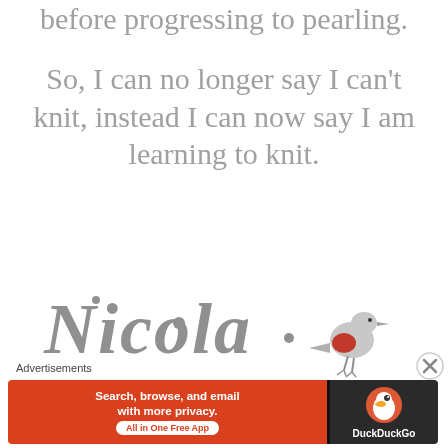before progressing to pearling.
So, I can no longer say I can't knit, instead I can now say I am learning to knit.
[Figure (illustration): Stylized text signature reading 'Nicola' in decorative gray lettering with a small illustrated robin bird to the right]
x x x x x
Advertisements
[Figure (screenshot): DuckDuckGo advertisement banner: orange left panel reads 'Search, browse, and email with more privacy. All in One Free App', dark right panel shows DuckDuckGo logo and text]